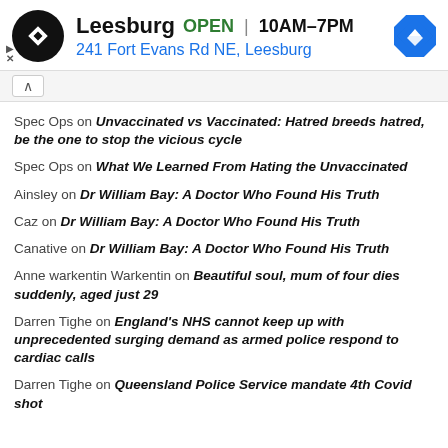[Figure (screenshot): Advertisement banner for a store in Leesburg with logo, open status, hours, and address]
Spec Ops on Unvaccinated vs Vaccinated: Hatred breeds hatred, be the one to stop the vicious cycle
Spec Ops on What We Learned From Hating the Unvaccinated
Ainsley on Dr William Bay: A Doctor Who Found His Truth
Caz on Dr William Bay: A Doctor Who Found His Truth
Canative on Dr William Bay: A Doctor Who Found His Truth
Anne warkentin Warkentin on Beautiful soul, mum of four dies suddenly, aged just 29
Darren Tighe on England's NHS cannot keep up with unprecedented surging demand as armed police respond to cardiac calls
Darren Tighe on Queensland Police Service mandate 4th Covid shot